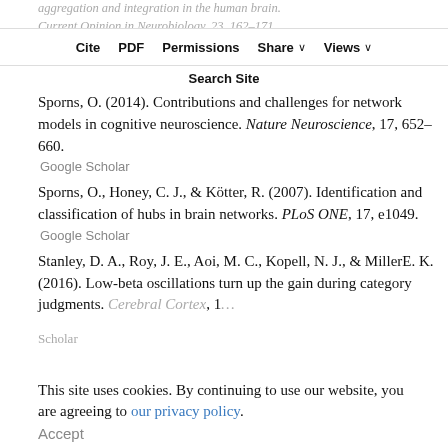aggregation and integration in the human brain. Current Opinion in Neurobiology, 23, 162–171. Google Scholar
Cite | PDF | Permissions | Share | Views | Search Site
Sporns, O. (2014). Contributions and challenges for network models in cognitive neuroscience. Nature Neuroscience, 17, 652–660.
Google Scholar
Sporns, O., Honey, C. J., & Kötter, R. (2007). Identification and classification of hubs in brain networks. PLoS ONE, 17, e1049.
Google Scholar
Stanley, D. A., Roy, J. E., Aoi, M. C., Kopell, N. J., & MillerE. K. (2016). Low-beta oscillations turn up the gain during category judgments. Cerebral Cortex, 1...
This site uses cookies. By continuing to use our website, you are agreeing to our privacy policy.
Accept